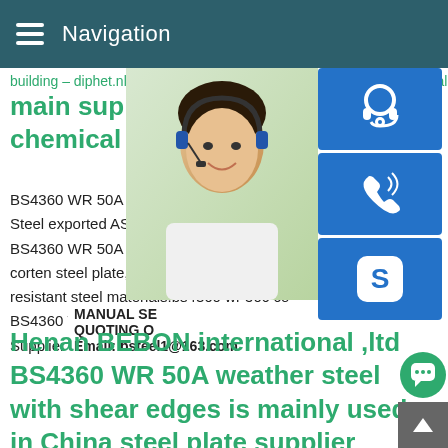Navigation
building – diphet.nl. Previous1/ main supply bs4360 wr 50c w chemical
BS4360 WR 50A factory direct sales weat Steel exported ASTM A588 Gr.A weatherin BS4360 WR 50A weather resistant steel p corten steel plate,ASTM A242 corten steel resistant steel materials.bs4360 wr 50c co BS4360 WR 50A corten steel with standar Supplier BS4360 WR 50C
[Figure (photo): Woman with headset providing customer support, with teal background]
[Figure (infographic): Three blue icon buttons: headset/support icon, phone icon, Skype icon]
MANUAL SE QUOTING O Email: bsteel1@163.com
Henan BEBON international ,ltd BS4360 WR 50A weather steel with shear edges is mainly used in China steel plate supplier BS4360 WR 50C Get Price.bs4360 wr 50a steel with shear edges bs4360 wr 50a weather steel for container for sale BS4360 WR 50C corten steel chemicalThe main what is bs4360 wr